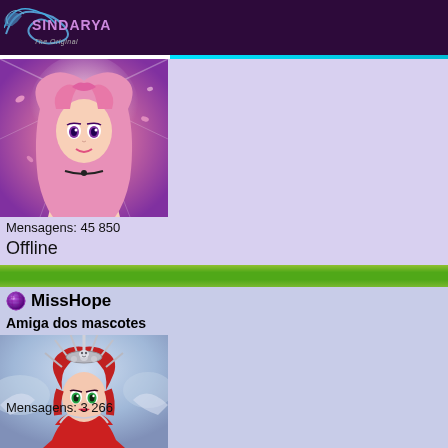Sindarya - The Original
[Figure (illustration): Anime-style female character with long pink/blonde hair on a purple/pink glowing background]
Mensagens: 45 850
Offline
[Figure (illustration): Green gradient separator bar]
🔮 MissHope
Amiga dos mascotes
[Figure (illustration): Anime-style female character with red hair and elaborate silver crown/headdress on a blue-grey background]
Mensagens: 3 266